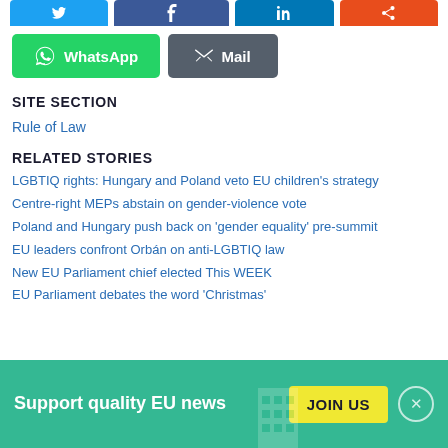[Figure (screenshot): Row of social share buttons: Twitter, Facebook, LinkedIn, share/Reddit (partially visible at top)]
[Figure (screenshot): WhatsApp and Mail share buttons]
SITE SECTION
Rule of Law
RELATED STORIES
LGBTIQ rights: Hungary and Poland veto EU children's strategy
Centre-right MEPs abstain on gender-violence vote
Poland and Hungary push back on 'gender equality' pre-summit
EU leaders confront Orbán on anti-LGBTIQ law
New EU Parliament chief elected This WEEK
EU Parliament debates the word 'Christmas'
Support quality EU news
JOIN US